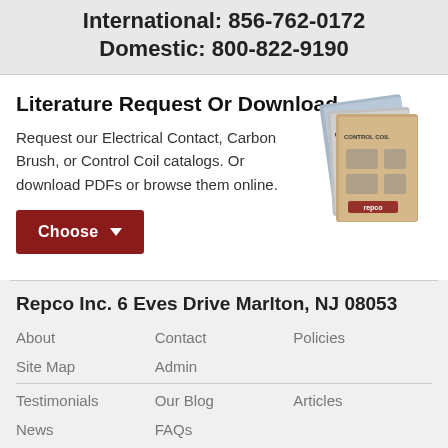International: 856-762-0172
Domestic: 800-822-9190
Literature Request Or Download
Request our Electrical Contact, Carbon Brush, or Control Coil catalogs. Or download PDFs or browse them online.
[Figure (illustration): Stack of product catalogs including Electrical Contacts, Carbon Brush, and Control Coil catalog booklets]
Choose
Repco Inc. 6 Eves Drive Marlton, NJ 08053
About
Contact
Policies
Site Map
Admin
Testimonials
Our Blog
Articles
News
FAQs